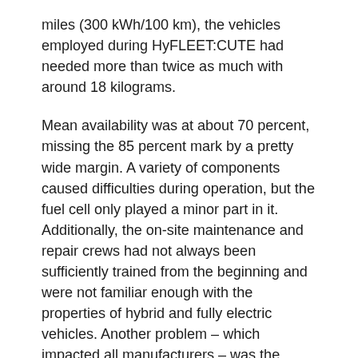miles (300 kWh/100 km), the vehicles employed during HyFLEET:CUTE had needed more than twice as much with around 18 kilograms.
Mean availability was at about 70 percent, missing the 85 percent mark by a pretty wide margin. A variety of components caused difficulties during operation, but the fuel cell only played a minor part in it. Additionally, the on-site maintenance and repair crews had not always been sufficiently trained from the beginning and were not familiar enough with the properties of hybrid and fully electric vehicles. Another problem – which impacted all manufacturers – was the inadequate supply chain for spare parts.
The challenge of spare part supply